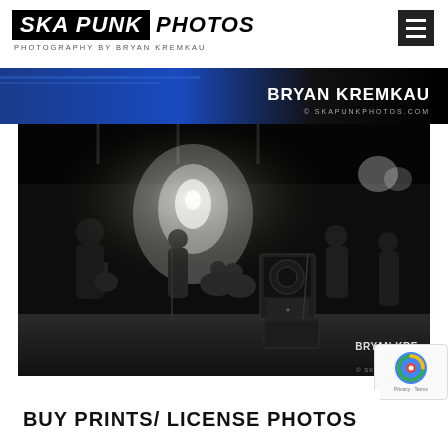SKA PUNK PHOTOS — PHOTOGRAPHY BY BRYAN KREMKAU
[Figure (photo): Blue banner strip with BRYAN KREMKAU text and © SKAPUNKPHOTOS.COM watermark]
[Figure (photo): Black and white concert photo of a band performing on stage, musicians with guitars and drums, bright stage lights, crowd in background, BRYAN KREMKAU © SKAFUNKPHO... watermark in bottom right]
BUY PRINTS/ LICENSE PHOTOS